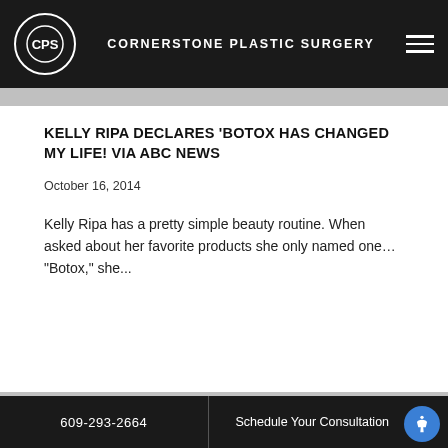CORNERSTONE PLASTIC SURGERY
KELLY RIPA DECLARES 'BOTOX HAS CHANGED MY LIFE! VIA ABC NEWS
October 16, 2014
Kelly Ripa has a pretty simple beauty routine. When asked about her favorite products she only named one… "Botox," she...
[Figure (photo): Close-up photo of a woman's face/jaw area with a large star-shaped earring]
609-293-2664   Schedule Your Consultation